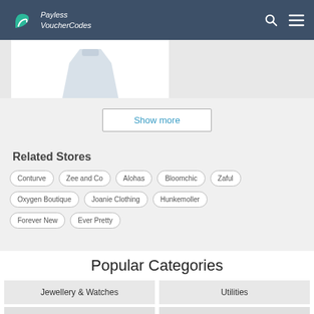Payless VoucherCodes
[Figure (photo): Partial product image showing a dress/clothing item on white background]
Show more
Related Stores
Conturve
Zee and Co
Alohas
Bloomchic
Zaful
Oxygen Boutique
Joanie Clothing
Hunkemoller
Forever New
Ever Pretty
Popular Categories
Jewellery & Watches
Utilities